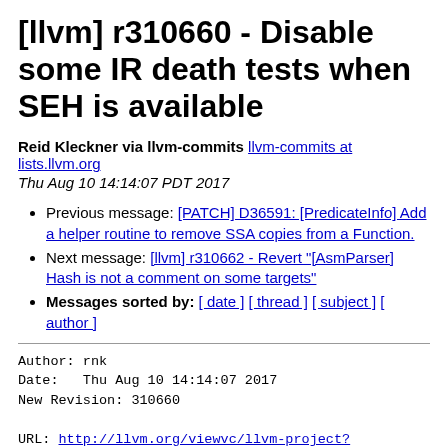[llvm] r310660 - Disable some IR death tests when SEH is available
Reid Kleckner via llvm-commits llvm-commits at lists.llvm.org
Thu Aug 10 14:14:07 PDT 2017
Previous message: [PATCH] D36591: [PredicateInfo] Add a helper routine to remove SSA copies from a Function.
Next message: [llvm] r310662 - Revert "[AsmParser] Hash is not a comment on some targets"
Messages sorted by: [ date ] [ thread ] [ subject ] [ author ]
Author: rnk
Date:   Thu Aug 10 14:14:07 2017
New Revision: 310660

URL: http://llvm.org/viewvc/llvm-project?rev=310660&view=rev
Log:
Disable some IR death tests when SEH is available